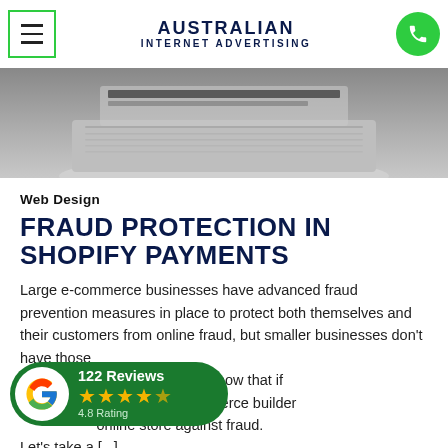AUSTRALIAN INTERNET ADVERTISING
[Figure (photo): Laptop computer photo, top-down view showing keyboard and screen, grayscale/muted tones]
Web Design
FRAUD PROTECTION IN SHOPIFY PAYMENTS
Large e-commerce businesses have advanced fraud prevention measures in place to protect both themselves and their customers from online fraud, but smaller businesses don't have those [resources], so it's good to know that if [you're using Shopify], this e-commerce builder [can protect your] online store against fraud. Let's take a [...]
[Figure (infographic): Google Reviews badge: 122 Reviews, 4.8 Rating, star rating display on green rounded pill background with Google G logo]